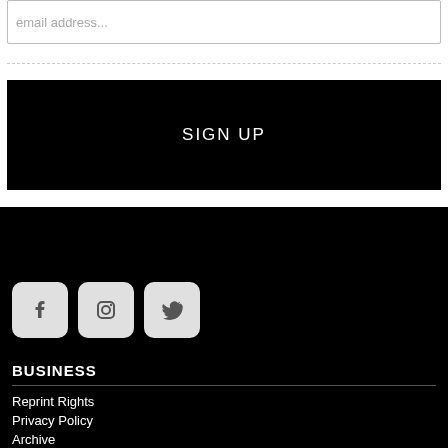email address...
[Figure (other): SIGN UP button - black rectangle with white text]
[Figure (other): Footer section with social icons (Facebook, Instagram, Twitter) on black background]
BUSINESS
Reprint Rights
Privacy Policy
Archive